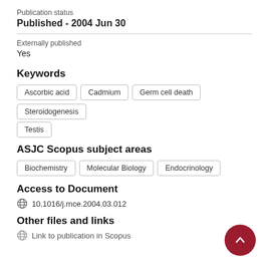Publication status
Published - 2004 Jun 30
Externally published
Yes
Keywords
Ascorbic acid
Cadmium
Germ cell death
Steroidogenesis
Testis
ASJC Scopus subject areas
Biochemistry
Molecular Biology
Endocrinology
Access to Document
10.1016/j.mce.2004.03.012
Other files and links
Link to publication in Scopus